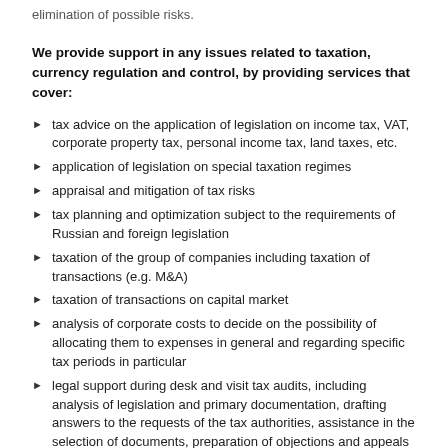elimination of possible risks.
We provide support in any issues related to taxation, currency regulation and control, by providing services that cover:
tax advice on the application of legislation on income tax, VAT, corporate property tax, personal income tax, land taxes, etc.
application of legislation on special taxation regimes
appraisal and mitigation of tax risks
tax planning and optimization subject to the requirements of Russian and foreign legislation
taxation of the group of companies including taxation of transactions (e.g. M&A)
taxation of transactions on capital market
analysis of corporate costs to decide on the possibility of allocating them to expenses in general and regarding specific tax periods in particular
legal support during desk and visit tax audits, including analysis of legislation and primary documentation, drafting answers to the requests of the tax authorities, assistance in the selection of documents, preparation of objections and appeals to higher tax authorities, development of positions, determination of a strategy for during audits, etc